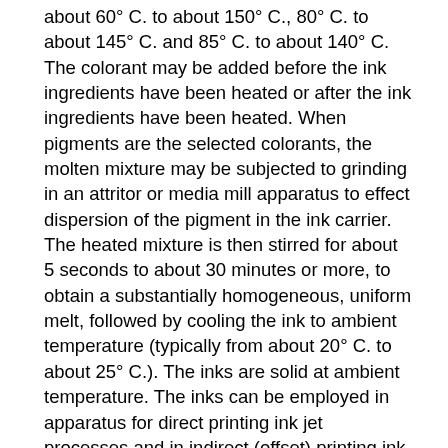about 60° C. to about 150° C., 80° C. to about 145° C. and 85° C. to about 140° C. The colorant may be added before the ink ingredients have been heated or after the ink ingredients have been heated. When pigments are the selected colorants, the molten mixture may be subjected to grinding in an attritor or media mill apparatus to effect dispersion of the pigment in the ink carrier. The heated mixture is then stirred for about 5 seconds to about 30 minutes or more, to obtain a substantially homogeneous, uniform melt, followed by cooling the ink to ambient temperature (typically from about 20° C. to about 25° C.). The inks are solid at ambient temperature. The inks can be employed in apparatus for direct printing ink jet processes and in indirect (offset) printing ink jet applications. Another embodiment disclosed herein is directed to a process which comprises incorporating an ink as disclosed herein into an ink jet printing apparatus, melting the ink, and causing droplets of the melted ink to be ejected in an imagewise pattern onto a recording substrate. A direct printing process is also disclosed in, for example, U.S. Pat. No. 5,195,430, the disclosure of which is totally incorporated herein by reference. Yet another embodiment disclosed herein is directed to a process which comprises